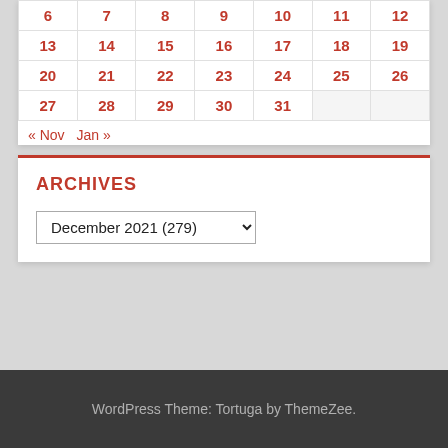| 6 | 7 | 8 | 9 | 10 | 11 | 12 |
| 13 | 14 | 15 | 16 | 17 | 18 | 19 |
| 20 | 21 | 22 | 23 | 24 | 25 | 26 |
| 27 | 28 | 29 | 30 | 31 |  |  |
« Nov   Jan »
ARCHIVES
December 2021  (279)
WordPress Theme: Tortuga by ThemeZee.